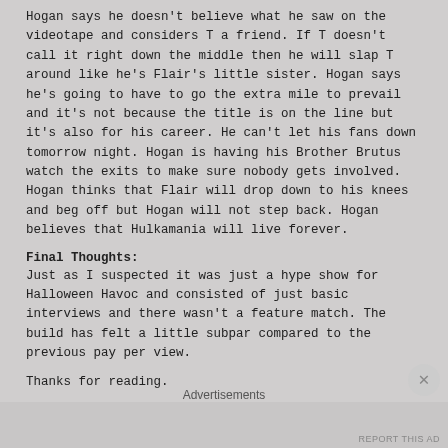Hogan says he doesn't believe what he saw on the videotape and considers T a friend. If T doesn't call it right down the middle then he will slap T around like he's Flair's little sister. Hogan says he's going to have to go the extra mile to prevail and it's not because the title is on the line but it's also for his career. He can't let his fans down tomorrow night. Hogan is having his Brother Brutus watch the exits to make sure nobody gets involved. Hogan thinks that Flair will drop down to his knees and beg off but Hogan will not step back. Hogan believes that Hulkamania will live forever.
Final Thoughts:
Just as I suspected it was just a hype show for Halloween Havoc and consisted of just basic interviews and there wasn't a feature match. The build has felt a little subpar compared to the previous pay per view.
Thanks for reading.
CATEGORIES
Advertisements